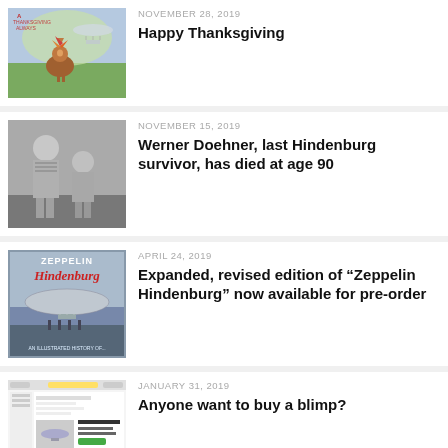[Figure (photo): Thanksgiving illustration showing a turkey and landscape]
NOVEMBER 28, 2019
Happy Thanksgiving
[Figure (photo): Black and white photo of Werner Doehner as a child with another child]
NOVEMBER 15, 2019
Werner Doehner, last Hindenburg survivor, has died at age 90
[Figure (photo): Book cover of Zeppelin Hindenburg showing the airship]
APRIL 24, 2019
Expanded, revised edition of “Zeppelin Hindenburg” now available for pre-order
[Figure (screenshot): Screenshot of a website listing for an American Blimp Company blimp]
JANUARY 31, 2019
Anyone want to buy a blimp?
[Figure (photo): Boxes of AIRSHIPS: Designed for Greatness book, Museum Edition]
JULY 14, 2018
AIRSHIPS: Designed for Greatness Museum Edition now available in USA